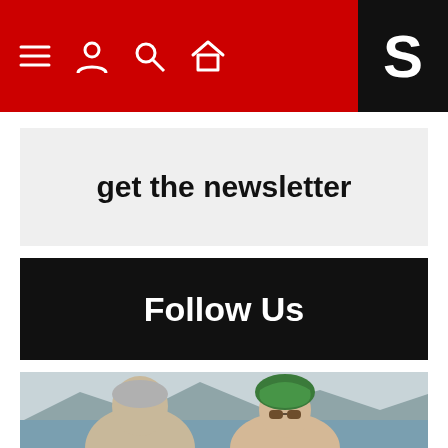S (logo with menu, profile, search, home icons)
get the newsletter
Follow Us
[Figure (photo): Two people at a beach with mountains in the background. A woman wearing sunglasses and a green head scarf smiles at the camera. A man with grey hair is visible to her left.]